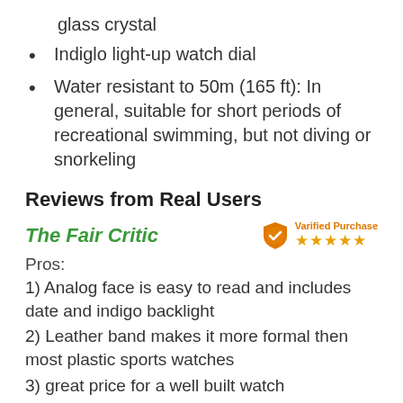glass crystal
Indiglo light-up watch dial
Water resistant to 50m (165 ft): In general, suitable for short periods of recreational swimming, but not diving or snorkeling
Reviews from Real Users
The Fair Critic
Pros:
1) Analog face is easy to read and includes date and indigo backlight
2) Leather band makes it more formal then most plastic sports watches
3) great price for a well built watch